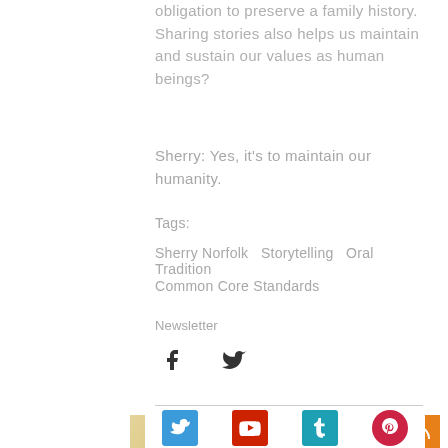obligation to preserve a family history. Sharing stories also helps us maintain and sustain our values as human beings?
Sherry: Yes, it's to maintain our humanity.
Tags:
Sherry Norfolk   Storytelling   Oral Tradition
Common Core Standards
Newsletter
[Figure (logo): Facebook and Twitter social media icons]
You Might Also Like:
[Figure (infographic): Row of social media share icons: Twitter/blue, YouTube/red, Tumblr/teal, Pinterest/pink]